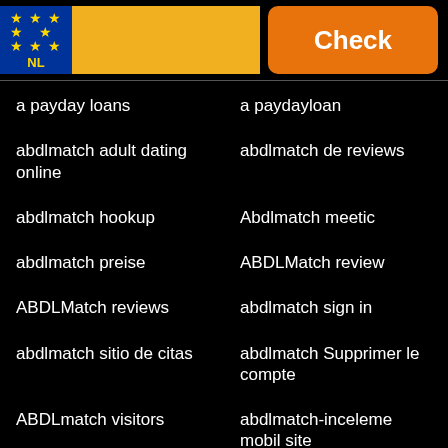[Figure (logo): Netherlands EU flag logo block with yellow bar and orange Check button]
a payday loans
a paydayloan
abdlmatch adult dating online
abdlmatch de reviews
abdlmatch hookup
Abdlmatch meetic
abdlmatch preise
ABDLMatch review
ABDLMatch reviews
abdlmatch sign in
abdlmatch sitio de citas
abdlmatch Supprimer le compte
ABDLmatch visitors
abdlmatch-inceleme mobil site